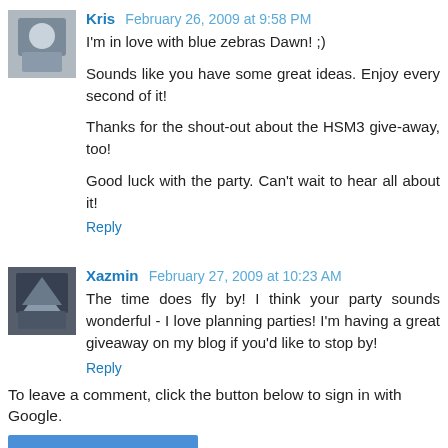Kris  February 26, 2009 at 9:58 PM
I'm in love with blue zebras Dawn! ;)

Sounds like you have some great ideas. Enjoy every second of it!

Thanks for the shout-out about the HSM3 give-away, too!

Good luck with the party. Can't wait to hear all about it!
Reply
Xazmin  February 27, 2009 at 10:23 AM
The time does fly by! I think your party sounds wonderful - I love planning parties! I'm having a great giveaway on my blog if you'd like to stop by!
Reply
To leave a comment, click the button below to sign in with Google.